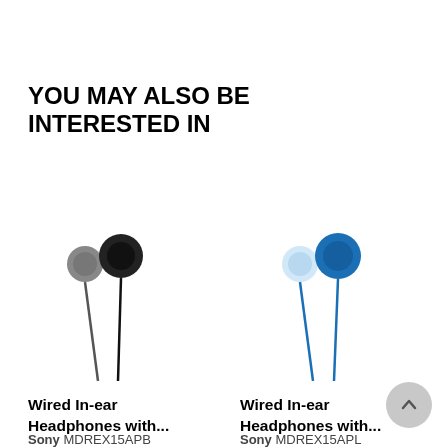YOU MAY ALSO BE INTERESTED IN
[Figure (photo): Black wired in-ear headphones (earbuds), two earpieces with cables hanging down]
Wired In-ear Headphones with...
Sony MDREX15APB
[Figure (photo): Blue wired in-ear headphones (earbuds), two earpieces with cables hanging down]
Wired In-ear Headphones with...
Sony MDREX15APL